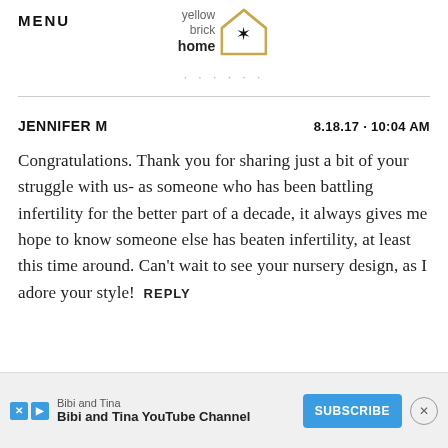MENU
[Figure (logo): Yellow Brick Home logo with house outline and star]
· · · · · · ·
JENNIFER M    8.18.17 · 10:04 AM
Congratulations. Thank you for sharing just a bit of your struggle with us- as someone who has been battling infertility for the better part of a decade, it always gives me hope to know someone else has beaten infertility, at least this time around. Can't wait to see your nursery design, as I adore your style!  REPLY
[Figure (screenshot): Advertisement banner: Bibi and Tina YouTube Channel with Subscribe button]